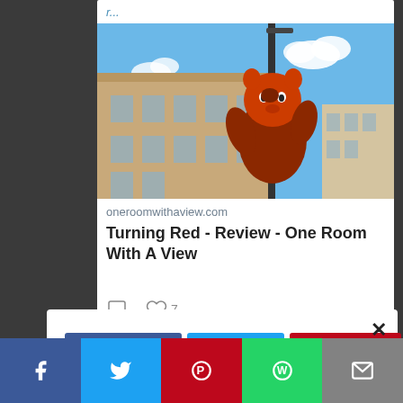r...
[Figure (photo): Animated red panda character (from Pixar's Turning Red) clinging to a street lamp post, with a city building and blue sky with clouds in background]
oneroomwithaview.com
Turning Red - Review - One Room With A View
[Figure (infographic): Social share dialog with Facebook, Twitter, Pinterest buttons in a row, and a partial second row with WhatsApp and more buttons, plus an X close button]
[Figure (infographic): Bottom share bar with Facebook (blue), Twitter (light blue), Pinterest (red), WhatsApp (green), and mail (gray) icon buttons]